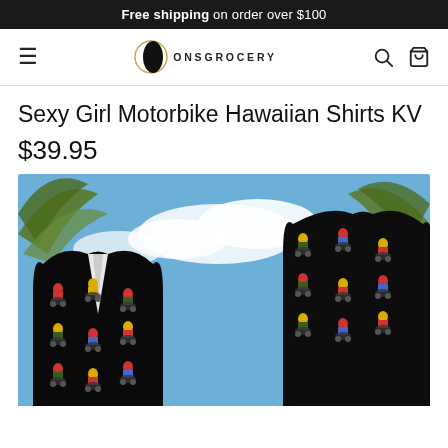Free shipping on order over $100
[Figure (logo): ONSGrocery logo with circular crescent moon icon and site navigation icons]
Sexy Girl Motorbike Hawaiian Shirts KV
$39.95
[Figure (photo): Black Hawaiian shirt with pattern of sexy pin-up girls on motorbikes, displayed outdoors against a blue sky with palm trees]